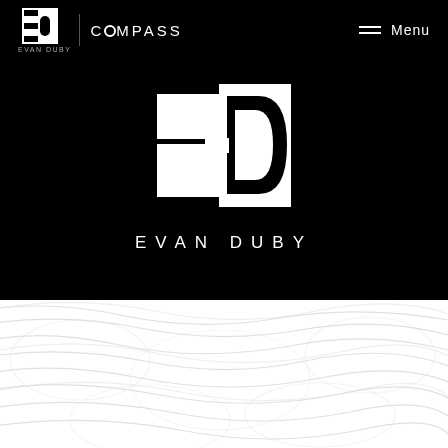[Figure (logo): Evan Duby Compass real estate brand header with navigation bar on black background, featuring ED monogram logo, Compass wordmark, hamburger menu, and large centered ED logo with EVAN DUBY text]
[Figure (illustration): White section with light grey topographic contour line pattern background]